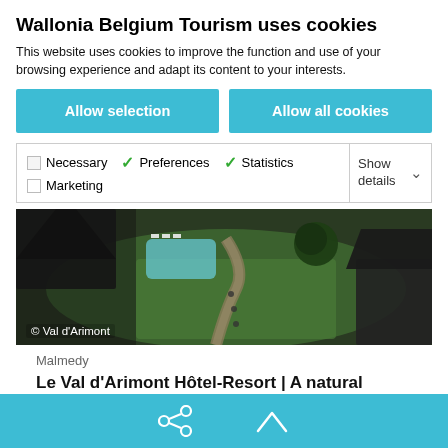Wallonia Belgium Tourism uses cookies
This website uses cookies to improve the function and use of your browsing experience and adapt its content to your interests.
Allow selection
Allow all cookies
Necessary   Preferences   Statistics   Marketing   Show details
[Figure (photo): Aerial view of Val d'Arimont hotel resort showing green lawn, pool area, pathways and surrounding dark-roofed buildings. Copyright notice: © Val d'Arimont]
© Val d'Arimont
Malmedy
Le Val d'Arimont Hôtel-Resort | A natural